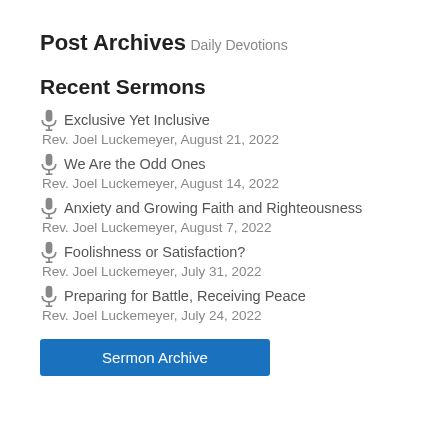Post Archives
Daily Devotions
Recent Sermons
Exclusive Yet Inclusive
Rev. Joel Luckemeyer, August 21, 2022
We Are the Odd Ones
Rev. Joel Luckemeyer, August 14, 2022
Anxiety and Growing Faith and Righteousness
Rev. Joel Luckemeyer, August 7, 2022
Foolishness or Satisfaction?
Rev. Joel Luckemeyer, July 31, 2022
Preparing for Battle, Receiving Peace
Rev. Joel Luckemeyer, July 24, 2022
Sermon Archive